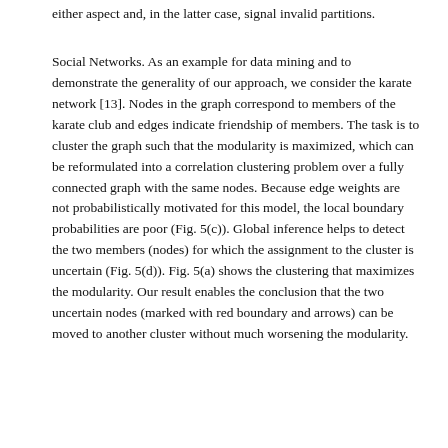either aspect and, in the latter case, signal invalid partitions.
Social Networks. As an example for data mining and to demonstrate the generality of our approach, we consider the karate network [13]. Nodes in the graph correspond to members of the karate club and edges indicate friendship of members. The task is to cluster the graph such that the modularity is maximized, which can be reformulated into a correlation clustering problem over a fully connected graph with the same nodes. Because edge weights are not probabilistically motivated for this model, the local boundary probabilities are poor (Fig. 5(c)). Global inference helps to detect the two members (nodes) for which the assignment to the cluster is uncertain (Fig. 5(d)). Fig. 5(a) shows the clustering that maximizes the modularity. Our result enables the conclusion that the two uncertain nodes (marked with red boundary and arrows) can be moved to another cluster without much worsening the modularity.